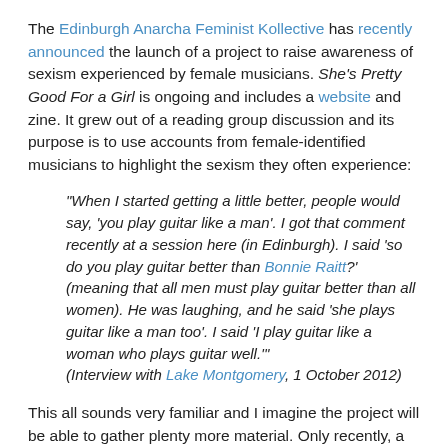The Edinburgh Anarcha Feminist Kollective has recently announced the launch of a project to raise awareness of sexism experienced by female musicians. She's Pretty Good For a Girl is ongoing and includes a website and zine. It grew out of a reading group discussion and its purpose is to use accounts from female-identified musicians to highlight the sexism they often experience:
"When I started getting a little better, people would say, 'you play guitar like a man'. I got that comment recently at a session here (in Edinburgh). I said 'so do you play guitar better than Bonnie Raitt?' (meaning that all men must play guitar better than all women). He was laughing, and he said 'she plays guitar like a man too'. I said 'I play guitar like a woman who plays guitar well.'" (Interview with Lake Montgomery, 1 October 2012)
This all sounds very familiar and I imagine the project will be able to gather plenty more material. Only recently, a musician in one of my Facebook groups said common occurances for her